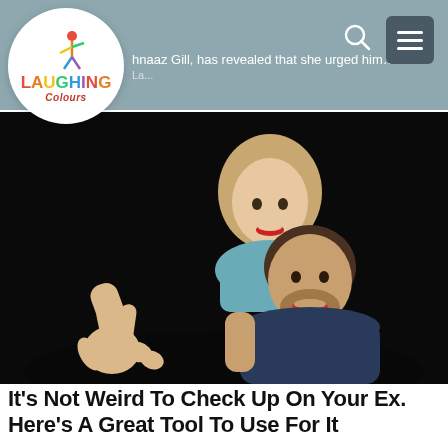Laughing Colours — ...hnaaz Gill, has revealed that she urged him... La...
[Figure (photo): A couple smiling against a black background; the woman is being carried on the man's back and making a peace sign with her hand.]
It's Not Weird To Check Up On Your Ex. Here's A Great Tool To Use For It